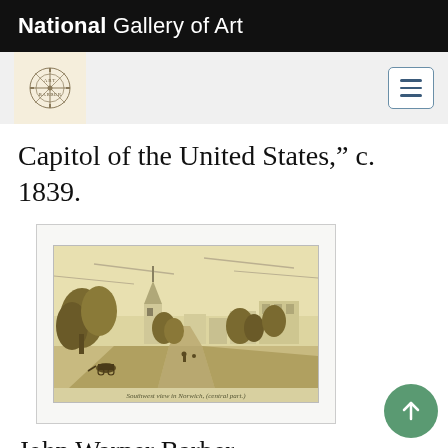National Gallery of Art
Capitol of the United States,” c. 1839.
[Figure (illustration): Historical engraving showing a south-west view of a town with a church steeple, trees, buildings, and a road with horses and people in the foreground. Caption reads: Southwest view in Norwich, (central part.)]
John Warner Barber, “South-west view in